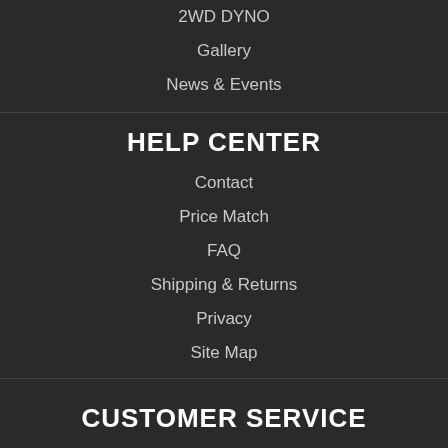2WD DYNO
Gallery
News & Events
HELP CENTER
Contact
Price Match
FAQ
Shipping & Returns
Privacy
Site Map
CUSTOMER SERVICE
920-361-7711
Mon - Fri 8am - 5pm CST
N807 County Road E